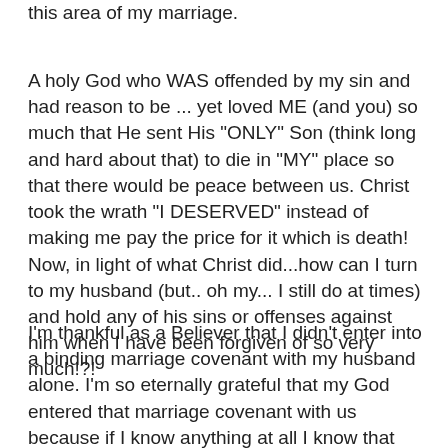this area of my marriage.
A holy God who WAS offended by my sin and had reason to be ... yet loved ME (and you) so much that He sent His "ONLY" Son (think long and hard about that) to die in "MY" place so that there would be peace between us. Christ took the wrath "I DESERVED" instead of making me pay the price for it which is death! Now, in light of what Christ did...how can I turn to my husband (but.. oh my... I still do at times) and hold any of his sins or offenses against him when I have been forgiven of so very much!?!
I'm thankful as a Believer that I didn't enter into a binding marriage covenant with my husband alone. I'm so eternally grateful that my God entered that marriage covenant with us because if I know anything at all I know that this marriage would not have worked if God, through His Holy Spirit, had not been constantly working in us to conform us into the